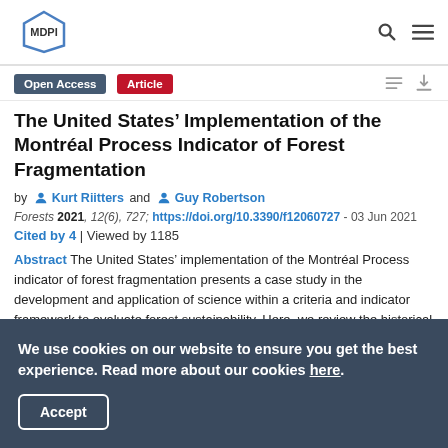MDPI
Open Access | Article
The United States’ Implementation of the Montréal Process Indicator of Forest Fragmentation
by Kurt Riitters and Guy Robertson
Forests 2021, 12(6), 727; https://doi.org/10.3390/f12060727 - 03 Jun 2021
Cited by 4 | Viewed by 1185
Abstract The United States’ implementation of the Montréal Process indicator of forest fragmentation presents a case study in the development and application of science within a criteria and indicator framework to evaluate forest sustainability. Here, we review the historical evolution and status of the Icd Process...
We use cookies on our website to ensure you get the best experience. Read more about our cookies here.
Accept